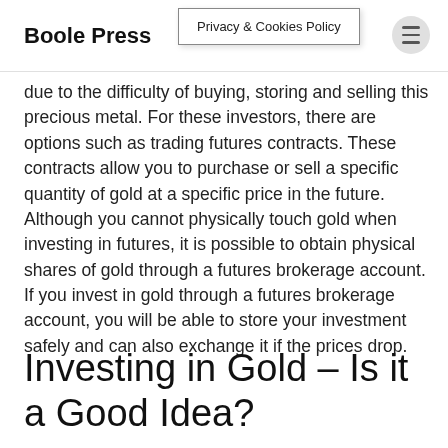Boole Press | Privacy & Cookies Policy
due to the difficulty of buying, storing and selling this precious metal. For these investors, there are options such as trading futures contracts. These contracts allow you to purchase or sell a specific quantity of gold at a specific price in the future. Although you cannot physically touch gold when investing in futures, it is possible to obtain physical shares of gold through a futures brokerage account. If you invest in gold through a futures brokerage account, you will be able to store your investment safely and can also exchange it if the prices drop.
Investing in Gold – Is it a Good Idea?